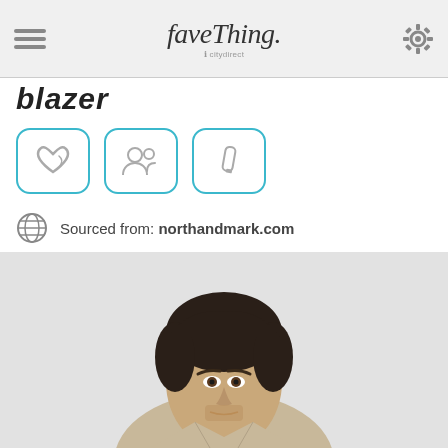favething · citydirect
blazer
[Figure (screenshot): Three action icon buttons with blue rounded borders: a heart/save icon, a share/people icon, and a pencil/edit icon]
Sourced from: northandmark.com
[Figure (photo): Photo of a young man with dark wavy hair, wearing a light beige blazer over a dark shirt, on a light grey background]